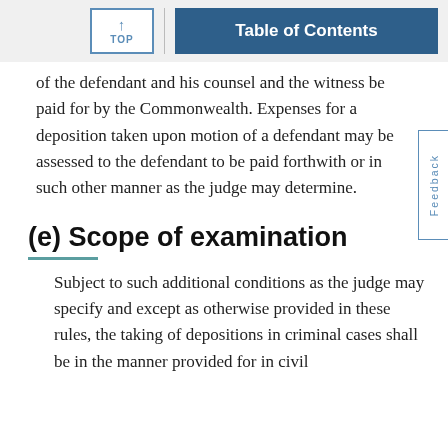TOP | Table of Contents
of the defendant and his counsel and the witness be paid for by the Commonwealth. Expenses for a deposition taken upon motion of a defendant may be assessed to the defendant to be paid forthwith or in such other manner as the judge may determine.
(e) Scope of examination
Subject to such additional conditions as the judge may specify and except as otherwise provided in these rules, the taking of depositions in criminal cases shall be in the manner provided for in civil